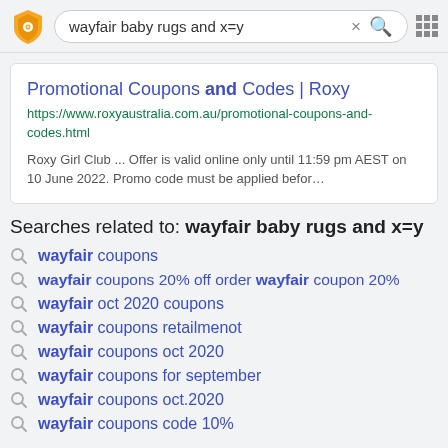[Figure (screenshot): Search bar with logo, search text 'wayfair baby rugs and x=y', X button, red search icon, and grid icon]
Promotional Coupons and Codes | Roxy
https://www.roxyaustralia.com.au/promotional-coupons-and-codes.html
Roxy Girl Club ... Offer is valid online only until 11:59 pm AEST on 10 June 2022. Promo code must be applied befor…
Searches related to: wayfair baby rugs and x=y
wayfair coupons
wayfair coupons 20% off order wayfair coupon 20%
wayfair oct 2020 coupons
wayfair coupons retailmenot
wayfair coupons oct 2020
wayfair coupons for september
wayfair coupons oct.2020
wayfair coupons code 10%